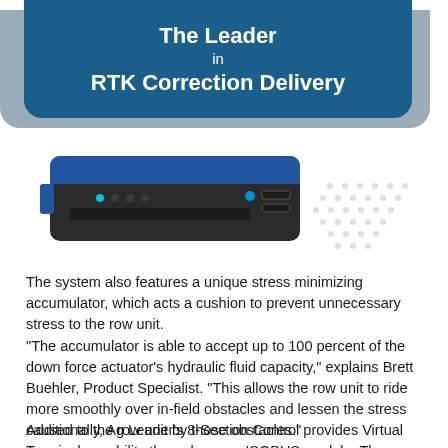The Leader in RTK Correction Delivery
[Figure (photo): Photo of an electronic device/module — a dark rectangular hardware unit with blue accents and indicator lights, resembling an RTK correction receiver or GPS module. A decorative dot-pattern graphic appears to the right of the device.]
The system also features a unique stress minimizing accumulator, which acts a cushion to prevent unnecessary stress to the row unit.
"The accumulator is able to accept up to 100 percent of the down force actuator's hydraulic fluid capacity," explains Brett Buehler, Product Specialist. "This allows the row unit to ride more smoothly over in-field obstacles and lessen the stress caused to the row unit by those obstacles."
Additionally, Ag Leader's 8-Section Control provides Virtual Terminal capability through a new ISOBUS module. The module allows functionality with any Virtual Terminal by combining a...